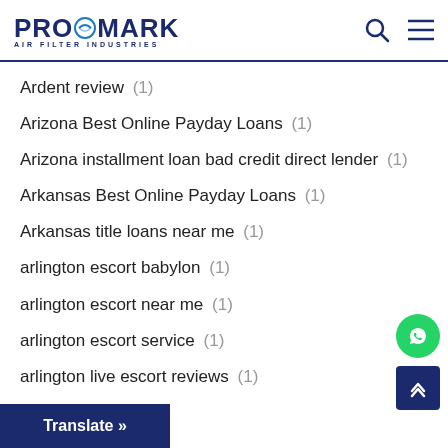PROMARK AIR FILTER INDUSTRIES
Ardent review (1)
Arizona Best Online Payday Loans (1)
Arizona installment loan bad credit direct lender (1)
Arkansas Best Online Payday Loans (1)
Arkansas title loans near me (1)
arlington escort babylon (1)
arlington escort near me (1)
arlington escort service (1)
arlington live escort reviews (1)